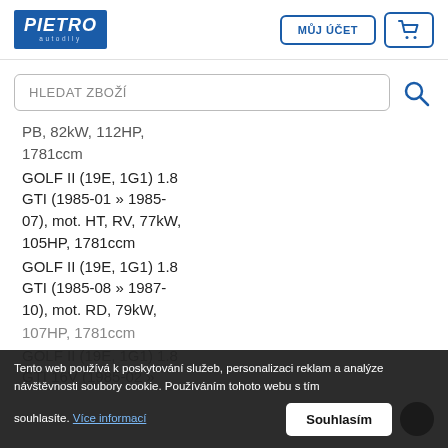[Figure (logo): PIETRO autodily logo - blue background with white italic text]
MŮJ ÚČET
[Figure (other): Shopping cart icon button]
HLEDAT ZBOŽÍ
PB, 82kW, 112HP, 1781ccm
GOLF II (19E, 1G1) 1.8 GTI (1985-01 » 1985-07), mot. HT, RV, 77kW, 105HP, 1781ccm
GOLF II (19E, 1G1) 1.8 GTI (1985-08 » 1987-10), mot. RD, 79kW, 107HP, 1781ccm
GOLF II (19E, 1G1) 1.8 GTI 16V (1985-02 » 1989-09), mot. KR
Tento web používá k poskytování služeb, personalizaci reklam a analýze návštěvnosti soubory cookie. Používáním tohoto webu s tím souhlasíte. Více informací
Souhlasím